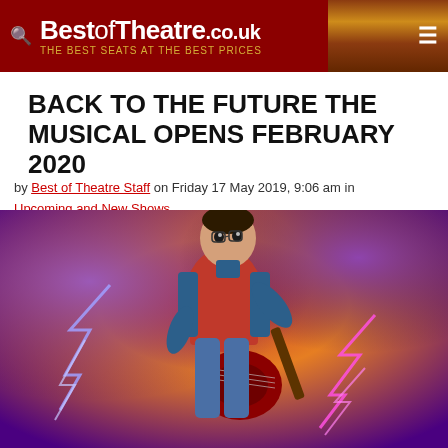BestofTheatre.co.uk — THE BEST SEATS AT THE BEST PRICES
BACK TO THE FUTURE THE MUSICAL OPENS FEBRUARY 2020
by Best of Theatre Staff on Friday 17 May 2019, 9:06 am in Upcoming and New Shows
[Figure (photo): Promotional image of the Back to the Future The Musical — a young man dressed as Marty McFly in red vest and denim jacket, playing a red electric guitar, set against a dramatic purple and orange sky with lightning bolts]